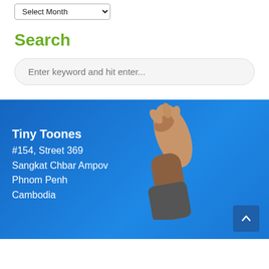Select Month
Search
Enter keyword and hit enter...
[Figure (photo): Person raising hand/foot against a blue sky background, used as footer banner image for Tiny Toones organization]
Tiny Toones
#154, Street 369
Sangkat Chbar Ampov
Phnom Penh
Cambodia